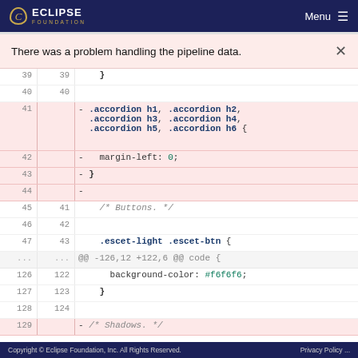ECLIPSE FOUNDATION  Menu
There was a problem handling the pipeline data. ×
[Figure (screenshot): Code diff view showing CSS changes. Lines 39-44 removed (accordion heading margin-left:0 block), lines 45-47/41-43 showing Buttons comment and .escet-light .escet-btn rule, lines 126-128/122-124 showing background-color: #f6f6f6 rule, line 129 showing removed /* Shadows. */ comment.]
Copyright © Eclipse Foundation, Inc. All Rights Reserved.  Privacy Policy ...